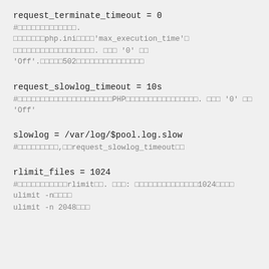request_terminate_timeout = 0
#□□□□□□□□□□□□□. □□□□□□□php.ini□□□□'max_execution_time'□□□□□□□□□□□□□□□□□□□. □□□ '0' □□ 'Off'.□□□□□502□□□□□□□□□□□□□□□
request_slowlog_timeout = 10s
#□□□□□□□□□□□□□□□□□□□□□PHP□□□□□□□□□□□□□□□□. □□□ '0' □□ 'Off'
slowlog = /var/log/$pool.log.slow
#□□□□□□□□□,□□request_slowlog_timeout□□
rlimit_files = 1024
#□□□□□□□□□□□rlimit□□. □□□: □□□□□□□□□□□□□□1024□□□□ ulimit -n□□□□
ulimit -n 2048□□□